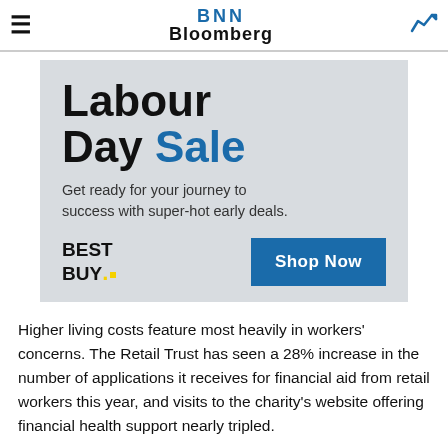BNN Bloomberg
[Figure (infographic): Best Buy Labour Day Sale advertisement banner. Text: 'Labour Day Sale. Get ready for your journey to success with super-hot early deals.' Best Buy logo and 'Shop Now' blue button.]
Higher living costs feature most heavily in workers' concerns. The Retail Trust has seen a 28% increase in the number of applications it receives for financial aid from retail workers this year, and visits to the charity's website offering financial health support nearly tripled.
As Britons battle the highest inflation in 40 years, those working in shops are among the worst off. Two-fifths of UK supermarket employees earn below the real living wage and